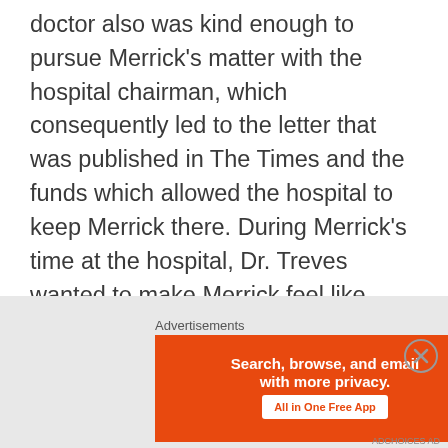doctor also was kind enough to pursue Merrick's matter with the hospital chairman, which consequently led to the letter that was published in The Times and the funds which allowed the hospital to keep Merrick there. During Merrick's time at the hospital, Dr. Treves wanted to make Merrick feel like home, and arranged for his lady friend to visit Merrick. Despite the stigma people had of Merrick, the doctor was never ashamed of going out with Merrick or fulfilling his dreams, and this time, the doctor arranged for Merrick's visit to the theatre. It was because of Dr. Treves' kindness towards Merrick, his life changed for the better and happier, and if it was not for his accident in
Advertisements
[Figure (other): DuckDuckGo advertisement banner: orange left panel with text 'Search, browse, and email with more privacy. All in One Free App', dark right panel with DuckDuckGo duck logo]